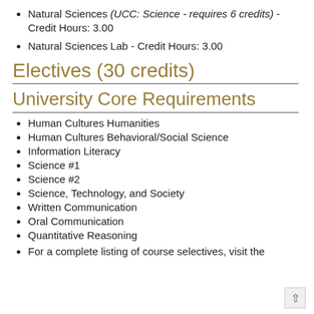Natural Sciences (UCC: Science - requires 6 credits) - Credit Hours: 3.00
Natural Sciences Lab - Credit Hours: 3.00
Electives (30 credits)
University Core Requirements
Human Cultures Humanities
Human Cultures Behavioral/Social Science
Information Literacy
Science #1
Science #2
Science, Technology, and Society
Written Communication
Oral Communication
Quantitative Reasoning
For a complete listing of course selectives, visit the